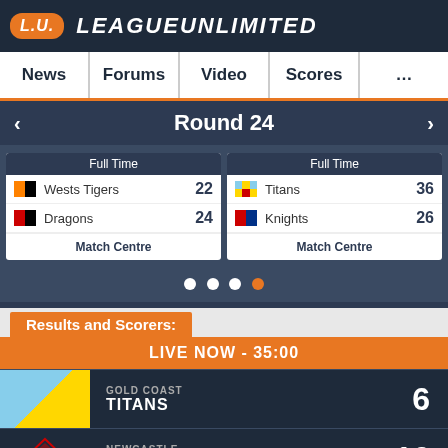L.U. LEAGUEUNLIMITED
News | Forums | Video | Scores | ...
Round 24
| Full Time |  |
| --- | --- |
| Wests Tigers | 22 |
| Dragons | 24 |
| Match Centre |  |
| Full Time |  |
| --- | --- |
| Titans | 36 |
| Knights | 26 |
| Match Centre |  |
Results and Scorers:
LIVE NOW - 35:00
GOLD COAST TITANS 6
NEWCASTLE KNIGHTS 16